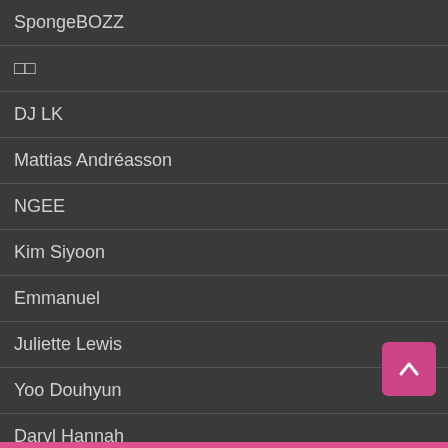SpongeBOZZ
🀫🀫
DJ LK
Mattias Andréasson
NGEE
Kim Siyoon
Emmanuel
Juliette Lewis
Yoo Douhyun
Daryl Hannah
MONTHLY POPULAR
Hemso
S.O.A.P.
Sara Lou Harris Carter